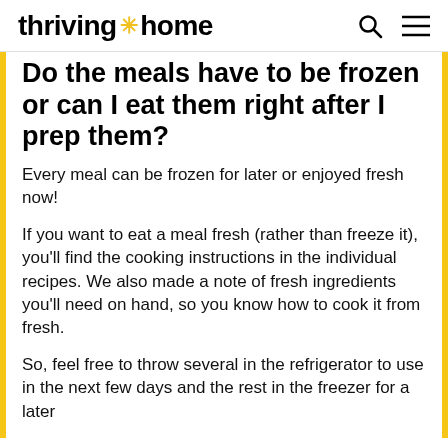thriving * home
Do the meals have to be frozen or can I eat them right after I prep them?
Every meal can be frozen for later or enjoyed fresh now!
If you want to eat a meal fresh (rather than freeze it), you’ll find the cooking instructions in the individual recipes. We also made a note of fresh ingredients you’ll need on hand, so you know how to cook it from fresh.
So, feel free to throw several in the refrigerator to use in the next few days and the rest in the freezer for a later